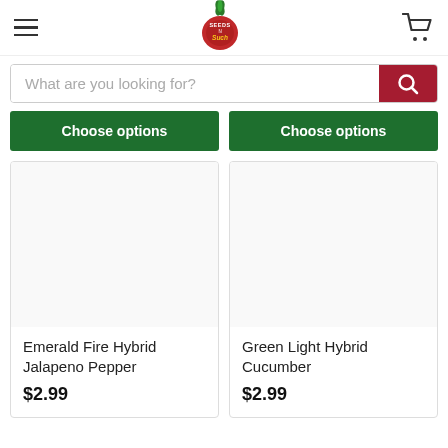[Figure (logo): Seeds N Such logo — red tomato with green leaves on top, text 'SEEDS N Such' on the tomato]
What are you looking for?
Choose options
Choose options
Emerald Fire Hybrid Jalapeno Pepper
$2.99
Green Light Hybrid Cucumber
$2.99